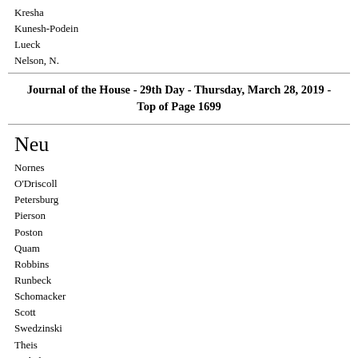Kresha
Kunesh-Podein
Lueck
Nelson, N.
Journal of the House - 29th Day - Thursday, March 28, 2019 - Top of Page 1699
Neu
Nornes
O'Driscoll
Petersburg
Pierson
Poston
Quam
Robbins
Runbeck
Schomacker
Scott
Swedzinski
Theis
Torkelson
Urdahl
Vogel
Zerwas
Those who voted in the negative were:
Acomb
Bahner
Bahr
Becker-Finn